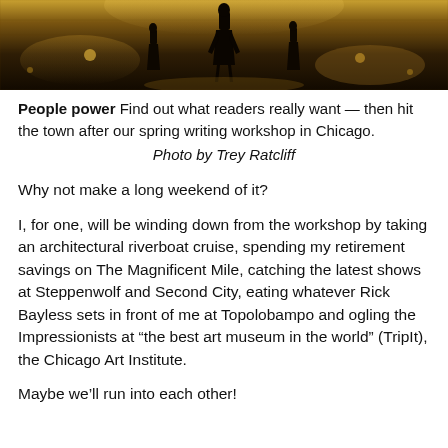[Figure (photo): A dark theatrical stage photo showing a silhouetted figure on stage with warm amber and golden lighting in the background, suggesting a nighttime city or performance scene.]
People power Find out what readers really want — then hit the town after our spring writing workshop in Chicago. Photo by Trey Ratcliff
Why not make a long weekend of it?
I, for one, will be winding down from the workshop by taking an architectural riverboat cruise, spending my retirement savings on The Magnificent Mile, catching the latest shows at Steppenwolf and Second City, eating whatever Rick Bayless sets in front of me at Topolobampo and ogling the Impressionists at “the best art museum in the world” (TripIt), the Chicago Art Institute.
Maybe we’ll run into each other!